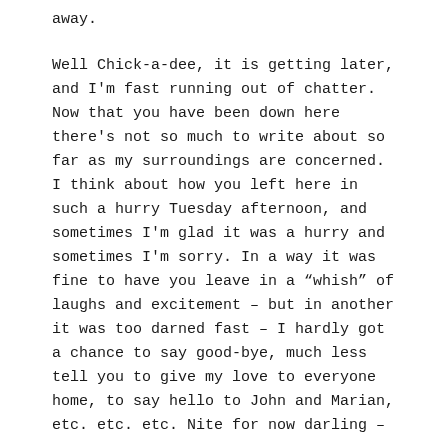away.
Well Chick-a-dee, it is getting later, and I'm fast running out of chatter. Now that you have been down here there's not so much to write about so far as my surroundings are concerned. I think about how you left here in such a hurry Tuesday afternoon, and sometimes I'm glad it was a hurry and sometimes I'm sorry. In a way it was fine to have you leave in a “whish” of laughs and excitement – but in another it was too darned fast – I hardly got a chance to say good-bye, much less tell you to give my love to everyone home, to say hello to John and Marian, etc. etc. etc. Nite for now darling –
All my love,
J.K.
Tomah, Wisconsin, September, 7 1943
Dearest Chickadee,